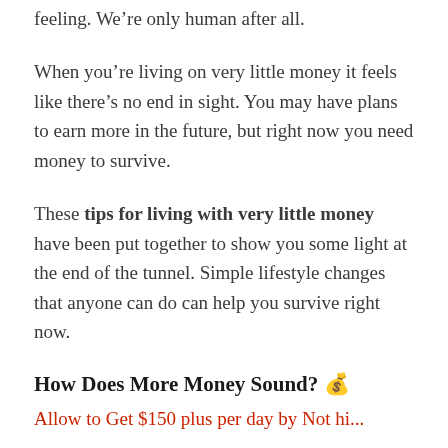feeling. We’re only human after all.
When you’re living on very little money it feels like there’s no end in sight. You may have plans to earn more in the future, but right now you need money to survive.
These tips for living with very little money have been put together to show you some light at the end of the tunnel. Simple lifestyle changes that anyone can do can help you survive right now.
How Does More Money Sound? 💰
Allow to Get $150 plus per day by Not hiring...